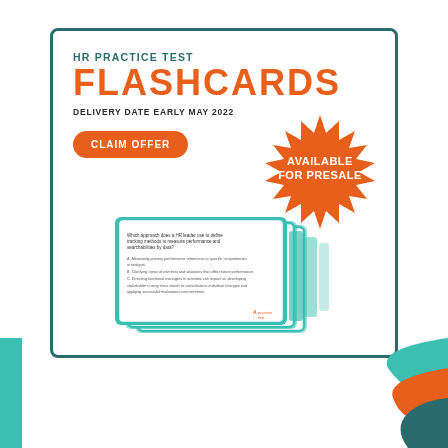[Figure (illustration): HR Practice Test Flashcards promotional card with teal border, orange starburst badge saying AVAILABLE FOR PRESALE, CLAIM OFFER button, stack of flashcard images, text HR PRACTICE TEST FLASHCARDS, DELIVERY DATE EARLY MAY 2022]
HR PRACTICE TEST FLASHCARDS
DELIVERY DATE EARLY MAY 2022
CLAIM OFFER
AVAILABLE FOR PRESALE
[Figure (illustration): Bottom decorative strip with teal vertical bar on left and orange/teal curved shapes on right]